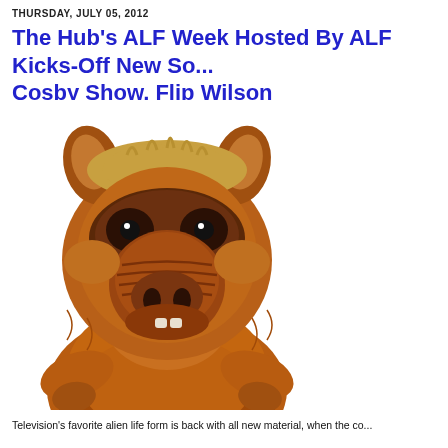THURSDAY, JULY 05, 2012
The Hub's ALF Week Hosted By ALF Kicks-Off New So... Cosby Show, Flip Wilson
[Figure (photo): ALF character puppet - the alien life form from the television show, shown from the chest up against a white background, with brown fur, large snout, small eyes, and a toothy grin.]
Television's favorite alien life form is back with all new material, when the co...